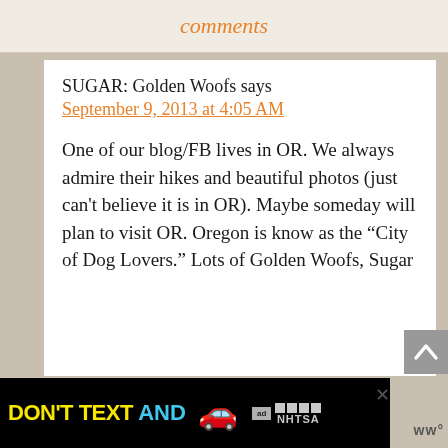comments
SUGAR: Golden Woofs says
September 9, 2013 at 4:05 AM
One of our blog/FB lives in OR. We always admire their hikes and beautiful photos (just can't believe it is in OR). Maybe someday will plan to visit OR. Oregon is know as the “City of Dog Lovers.” Lots of Golden Woofs, Sugar
[Figure (screenshot): Advertisement banner: DON'T TEXT AND [drive] - NHTSA ad with car emoji and close button]